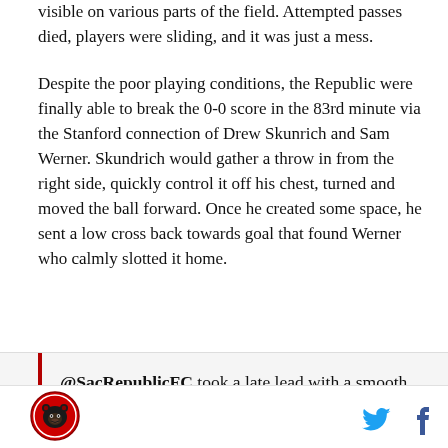visible on various parts of the field. Attempted passes died, players were sliding, and it was just a mess.
Despite the poor playing conditions, the Republic were finally able to break the 0-0 score in the 83rd minute via the Stanford connection of Drew Skunrich and Sam Werner. Skundrich would gather a throw in from the right side, quickly control it off his chest, turned and moved the ball forward. Once he created some space, he sent a low cross back towards goal that found Werner who calmly slotted it home.
@SacRepublicFC took a late lead with a smooth
[Figure (logo): Sacramento Republic FC circular logo with bear emblem, red and black colors]